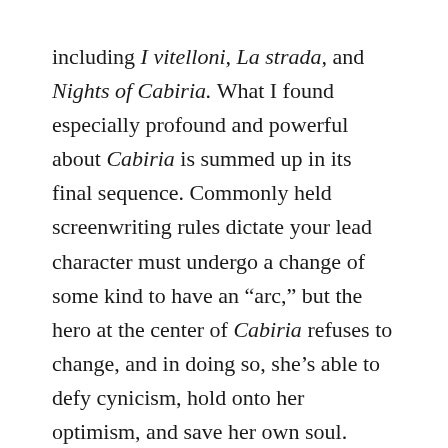including I vitelloni, La strada, and Nights of Cabiria. What I found especially profound and powerful about Cabiria is summed up in its final sequence. Commonly held screenwriting rules dictate your lead character must undergo a change of some kind to have an “arc,” but the hero at the center of Cabiria refuses to change, and in doing so, she’s able to defy cynicism, hold onto her optimism, and save her own soul.
I’ve been thinking a lot about Cabiria recently, as I watch films that wrestle with violence through the victimization of their protagonists. These films seem to pose a relationship between cause and effect: look what the world has done to these